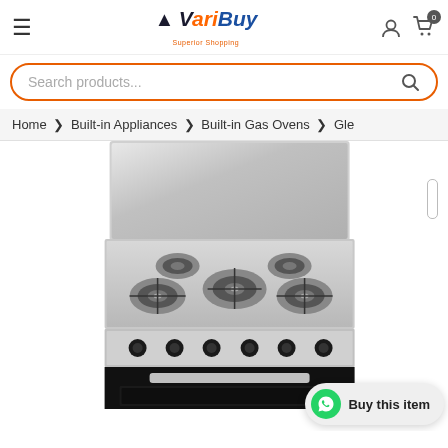VariBuy - Superior Shopping
Search products...
Home > Built-in Appliances > Built-in Gas Ovens > Gle
[Figure (photo): A stainless steel freestanding gas cooker/oven with 5 burners on top, control knobs in the middle panel, and a black oven door at the bottom. A large stainless steel backsplash is raised behind the burners.]
Buy this item